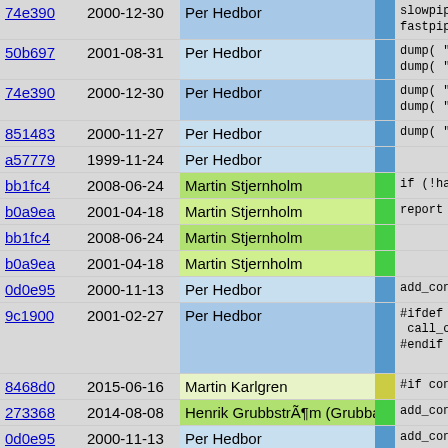| hash | date | author | bar | code |
| --- | --- | --- | --- | --- |
| 74e390 | 2000-12-30 | Per Hedbor |  | slowpipe
fastpipe |
| 50b697 | 2001-08-31 | Per Hedbor |  | dump( "e
dump( "e |
| 74e390 | 2000-12-30 | Per Hedbor |  | dump( "b
dump( "b |
| 851483 | 2000-11-27 | Per Hedbor |  | dump( "b |
| a57779 | 1999-11-24 | Per Hedbor |  |  |
| bb1fc4 | 2008-06-24 | Martin Stjernholm |  | if (!has |
| b0a9ea | 2001-04-18 | Martin Stjernholm |  | report |
| bb1fc4 | 2008-06-24 | Martin Stjernholm |  |  |
| b0a9ea | 2001-04-18 | Martin Stjernholm |  |  |
| 0d0e95 | 2000-11-13 | Per Hedbor |  | add_cons |
| 9c1900 | 2001-02-27 | Per Hedbor |  | #ifdef TIM
call_out
#endif |
| 8468d0 | 2015-06-16 | Martin Karlgren |  | #if consta |
| 273368 | 2014-08-08 | Henrik Grubbström (Grubba) |  | add_cons |
| 0d0e95 | 2000-11-13 | Per Hedbor |  | add_cons |